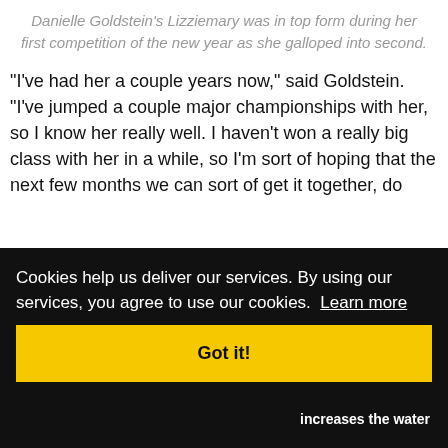Danielle Goldstein's Lizziemary was in top form during her first competition of the new year as she galloped into second.
“I’ve had her a couple years now,” said Goldstein. “I’ve jumped a couple major championships with her, so I know her really well. I haven’t won a really big class with her in a while, so I’m sort of hoping that the next few months we can sort of get it together, do
Cookies help us deliver our services. By using our services, you agree to use our cookies.  Learn more
Got it!
increases the water